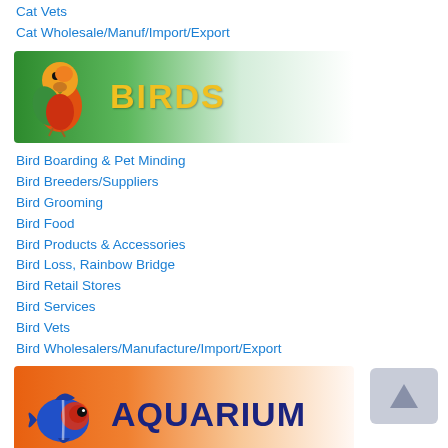Cat Vets
Cat Wholesale/Manuf/Import/Export
[Figure (illustration): Green banner with parrot image and text BIRDS]
Bird Boarding & Pet Minding
Bird Breeders/Suppliers
Bird Grooming
Bird Food
Bird Products & Accessories
Bird Loss, Rainbow Bridge
Bird Retail Stores
Bird Services
Bird Vets
Bird Wholesalers/Manufacture/Import/Export
[Figure (illustration): Orange banner with fish image and text AQUARIUM]
Aquarium Breeders/Suppliers
Aquarium Products
Aquarium Retail Stores